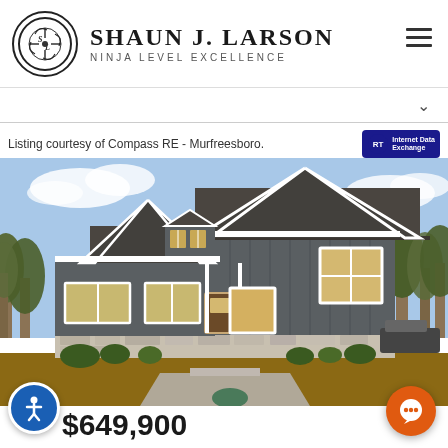[Figure (logo): Shaun J. Larson logo with circular emblem and text 'Shaun J. Larson Ninja Level Excellence']
Listing courtesy of Compass RE - Murfreesboro.
[Figure (photo): Exterior photo of a craftsman-style two-story house with dark gray board-and-batten siding, stone foundation, multiple gabled roof lines, white trim windows, and landscaping in front under a partly cloudy sky]
$649,900